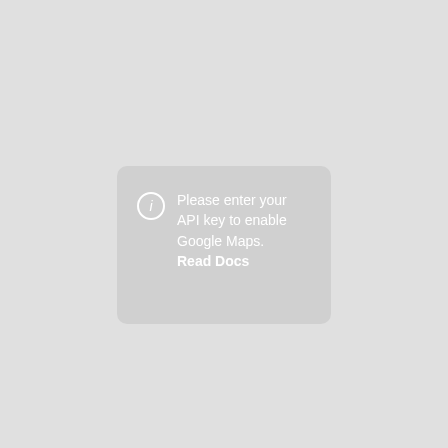[Figure (screenshot): A light gray rounded rectangle placeholder for a Google Maps embed, containing a white info icon (circle with letter i) on the left and white text 'Please enter your API key to enable Google Maps. Read Docs' with 'Read Docs' in bold.]